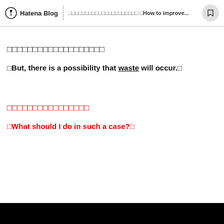Hatena Blog | □□□□□□□□□□□□□□□□□□□□□ □How to improve...
□□□□□□□□□□□□□□□□□□□
□But, there is a possibility that waste will occur.□
□□□□□□□□□□□□□□□□
□What should I do in such a case?□